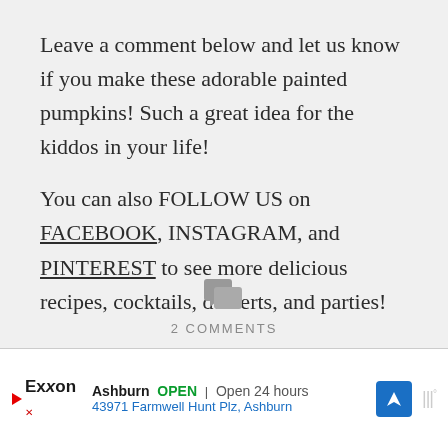Leave a comment below and let us know if you make these adorable painted pumpkins! Such a great idea for the kiddos in your life!
You can also FOLLOW US on FACEBOOK, INSTAGRAM, and PINTEREST to see more delicious recipes, cocktails, desserts, and parties!
[Figure (other): Two overlapping speech bubble comment icons in gray]
2 COMMENTS
[Figure (other): Exxon advertisement bar showing: Ashburn OPEN, Open 24 hours, 43971 Farmwell Hunt Plz, Ashburn]